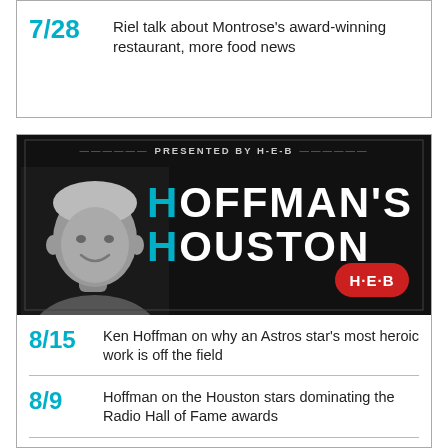7/28 Riel talk about Montrose's award-winning restaurant, more food news
[Figure (illustration): Hoffman's Houston presented by H-E-B banner with a man's grayscale portrait on the left and the text HOFFMAN'S HOUSTON in large white letters with cyan H letters, HEB logo badge at bottom right]
8/15 Ken Hoffman on why an Astros star's most heroic work is off the field
8/9 Hoffman on the Houston stars dominating the Radio Hall of Fame awards
8/1 Hoffman's stone-cold prediction on the demise of a U.S. ice cream fav